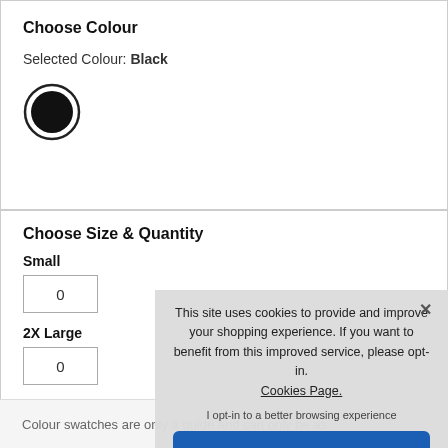Choose Colour
Selected Colour: Black
[Figure (illustration): Black filled circle with border representing the colour swatch for Black]
Choose Size & Quantity
Small
0
2X Large
0
This site uses cookies to provide and improve your shopping experience. If you want to benefit from this improved service, please opt-in. Cookies Page.
I opt-in to a better browsing experience
ACCEPT COOKIES
Colour swatches are only a guide and can only be as